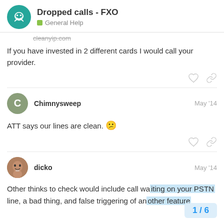Dropped calls - FXO | General Help
cleanyip.com
If you have invested in 2 different cards I would call your provider.
Chimnysweep  May '14
ATT says our lines are clean. 😕
dicko  May '14
Other thinks to check would include call wa... line, a bad thing, and false triggering of an...
1 / 6